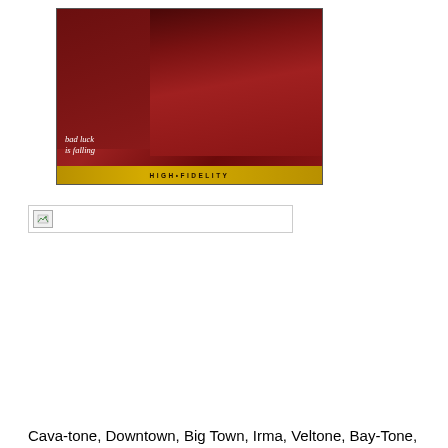[Figure (photo): Album cover for 'Bad Luck Is Falling' showing a woman in a red outfit against a red background, with 'HIGH FIDELITY' text banner at the bottom in gold/yellow]
[Figure (photo): Broken image placeholder icon with border]
Cava-tone, Downtown, Big Town, Irma, Veltone, Bay-Tone,